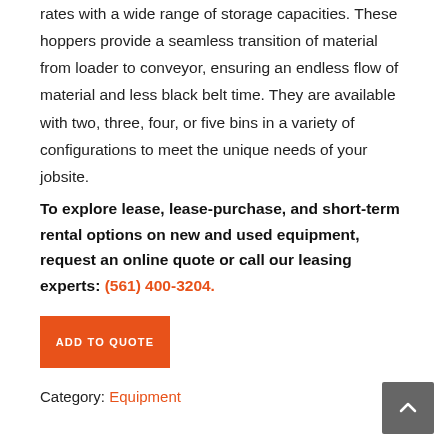rates with a wide range of storage capacities. These hoppers provide a seamless transition of material from loader to conveyor, ensuring an endless flow of material and less black belt time. They are available with two, three, four, or five bins in a variety of configurations to meet the unique needs of your jobsite.
To explore lease, lease-purchase, and short-term rental options on new and used equipment, request an online quote or call our leasing experts: (561) 400-3204.
ADD TO QUOTE
Category: Equipment